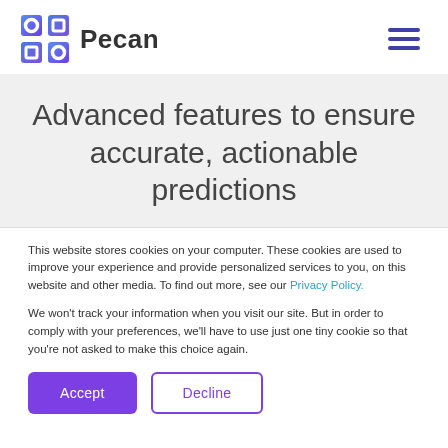[Figure (logo): Pecan AI logo — geometric blue/purple square icon with circular cutouts, beside the text 'Pecan']
Advanced features to ensure accurate, actionable predictions
This website stores cookies on your computer. These cookies are used to improve your experience and provide personalized services to you, on this website and other media. To find out more, see our Privacy Policy.
We won't track your information when you visit our site. But in order to comply with your preferences, we'll have to use just one tiny cookie so that you're not asked to make this choice again.